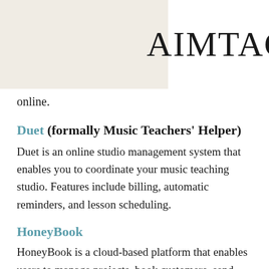[Figure (logo): AIMTAG logo in decorative serif font on light beige background with hamburger menu icon]
online.
Duet (formally Music Teachers' Helper)
Duet is an online studio management system that enables you to coordinate your music teaching studio. Features include billing, automatic reminders, and lesson scheduling.
HoneyBook
HoneyBook is a cloud-based platform that enables users to manage projects, book customers, send invoices, sign online contracts and manage payments.
My Music Staff